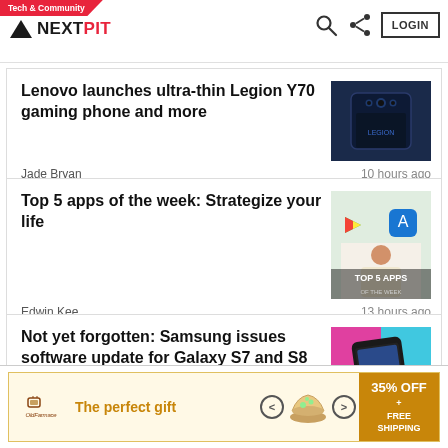Tech & Community — NEXTPIT — LOGIN
Lenovo launches ultra-thin Legion Y70 gaming phone and more
Jade Bryan · 10 hours ago
Top 5 apps of the week: Strategize your life
Edwin Kee · 13 hours ago
Not yet forgotten: Samsung issues software update for Galaxy S7 and S8
Jade Bryan · 1 day ago
[Figure (screenshot): Ad banner: The perfect gift — 35% OFF + FREE SHIPPING]